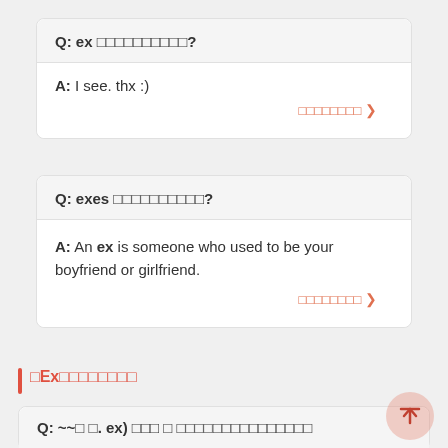Q: ex 〜〜〜〜〜〜〜〜〜〜?
A: I see. thx :)
〜〜〜〜〜〜〜〜 >
Q: exes 〜〜〜〜〜〜〜〜〜〜?
A: An ex is someone who used to be your boyfriend or girlfriend.
〜〜〜〜〜〜〜〜 >
〜Ex〜〜〜〜〜〜〜〜〜〜
Q: ~~〜 〜. ex) 〜〜〜 〜 〜〜〜〜〜〜〜〜〜〜〜〜〜〜〜